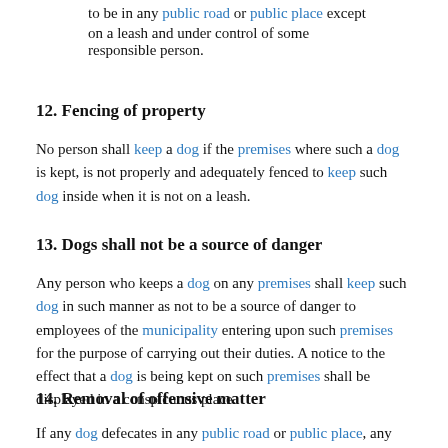(i) to be in any public road or public place except on a leash and under control of some responsible person.
12. Fencing of property
No person shall keep a dog if the premises where such a dog is kept, is not properly and adequately fenced to keep such dog inside when it is not on a leash.
13. Dogs shall not be a source of danger
Any person who keeps a dog on any premises shall keep such dog in such manner as not to be a source of danger to employees of the municipality entering upon such premises for the purpose of carrying out their duties. A notice to the effect that a dog is being kept on such premises shall be displayed in a conspicuous place.
14. Removal of offensive matter
If any dog defecates in any public road or public place, any person in charge of such dog shall forthwith remove the